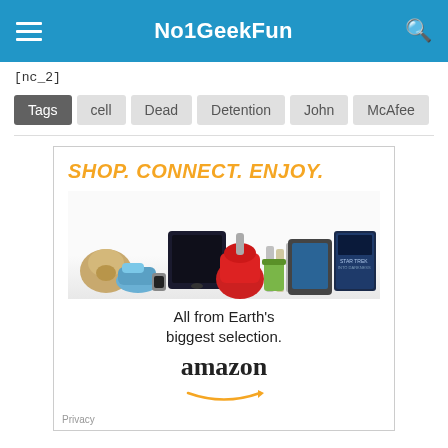No1GeekFun
[nc_2]
Tags  cell  Dead  Detention  John  McAfee
[Figure (infographic): Amazon advertisement showing 'SHOP. CONNECT. ENJOY.' slogan with products and 'All from Earth's biggest selection.' text and Amazon logo with smile arrow.]